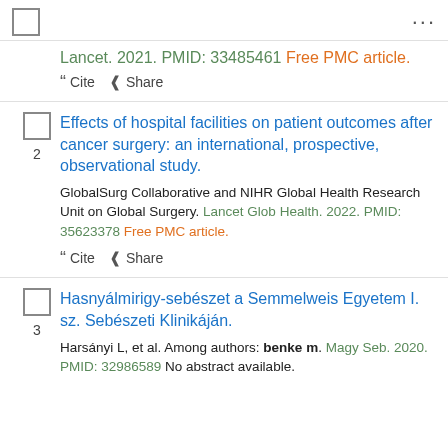Lancet. 2021. PMID: 33485461 Free PMC article.
" Cite < Share
Effects of hospital facilities on patient outcomes after cancer surgery: an international, prospective, observational study.
GlobalSurg Collaborative and NIHR Global Health Research Unit on Global Surgery. Lancet Glob Health. 2022. PMID: 35623378 Free PMC article.
" Cite < Share
Hasnyálmirigy-sebészet a Semmelweis Egyetem I. sz. Sebészeti Klinikáján.
Harsányi L, et al. Among authors: benke m. Magy Seb. 2020. PMID: 32986589 No abstract available.